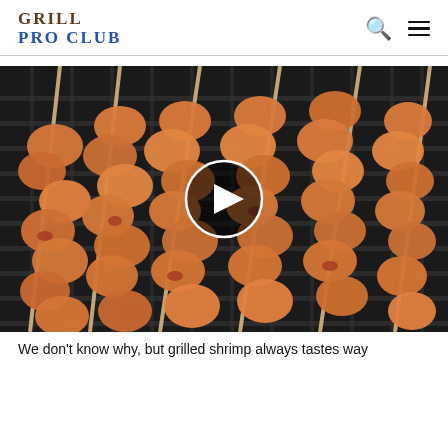GRILL PRO CLUB
[Figure (photo): Grilled shrimp skewers on a barbecue grill grate, close-up overhead view, with a video play button overlay in the center]
We don't know why, but grilled shrimp always tastes way